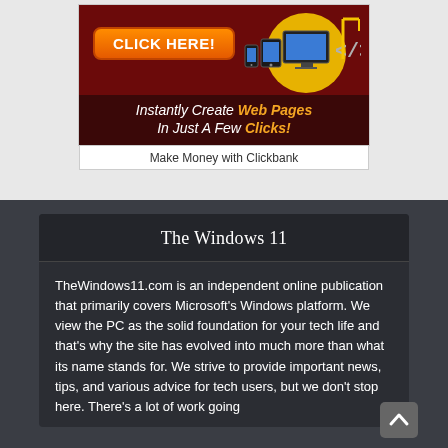[Figure (infographic): Advertisement banner: dark red background with a yellow/orange 'CLICK HERE!' button on the left and device icons (monitor, tablet, phone) on the right. Text reads 'Instantly Create Web Pages In Just A Few Clicks!' with 'Web Pages' and 'Clicks!' in orange/gold italic. Below is a white bar reading 'Make Money with Clickbank'.]
Make Money with Clickbank
The Windows 11
TheWindows11.com is an independent online publication that primarily covers Microsoft's Windows platform. We view the PC as the solid foundation for your tech life and that's why the site has evolved into much more than what its name stands for. We strive to provide important news, tips, and various advice for tech users, but we don't stop here. There's a lot of work going...